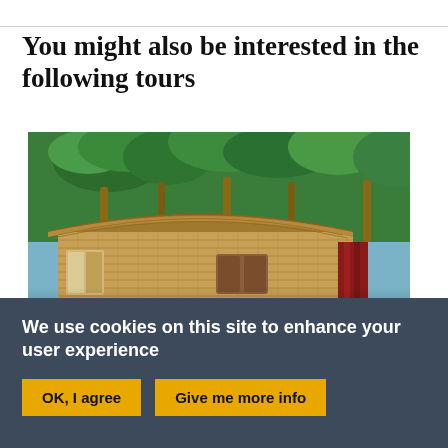You might also be interested in the following tours
[Figure (photo): A traditional Kerala houseboat (kettuvallam) on backwaters with palm trees in background. Overlaid caption text reads: Kerala and the Magic of India's Malabar Coast, 2023]
Kerala and the Magic of India's Malabar Coast, 2023
We use cookies on this site to enhance your user experience
OK, I agree
Give me more info